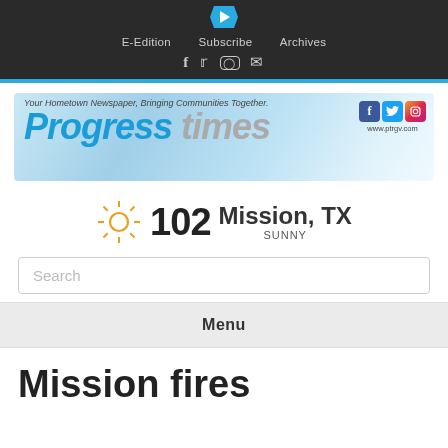E-Edition  Subscribe  Archives
[Figure (logo): Progress Times newspaper banner logo with tagline 'Your Hometown Newspaper, Bringing Communities Together.' and social media icons, url www.ptrgv.com]
102  Mission, TX  SUNNY
Search
Menu
Mission fires